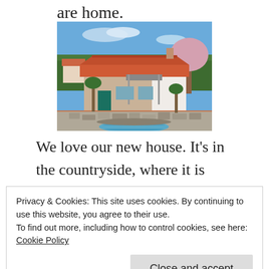are home.
[Figure (photo): Aerial view of a Mediterranean-style house with orange/red tiled roof, white walls, a large terracotta-colored patio, a small swimming pool in the foreground, and greenery/trees in the background under a blue sky.]
We love our new house. It’s in the countryside, where it is amazingly quiet. Well, that is until you go
Privacy & Cookies: This site uses cookies. By continuing to use this website, you agree to their use.
To find out more, including how to control cookies, see here: Cookie Policy
Close and accept
and a continuously annoyed goose